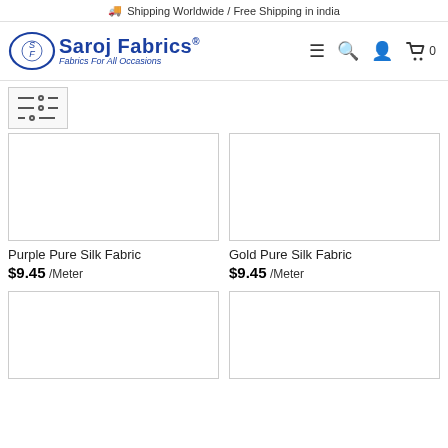🚚 Shipping Worldwide / Free Shipping in india
[Figure (logo): Saroj Fabrics logo with oval SF emblem and tagline 'Fabrics For All Occasions']
[Figure (screenshot): Product image placeholder for Purple Pure Silk Fabric]
Purple Pure Silk Fabric
$9.45 /Meter
[Figure (screenshot): Product image placeholder for Gold Pure Silk Fabric]
Gold Pure Silk Fabric
$9.45 /Meter
[Figure (screenshot): Product image placeholder bottom left]
[Figure (screenshot): Product image placeholder bottom right]